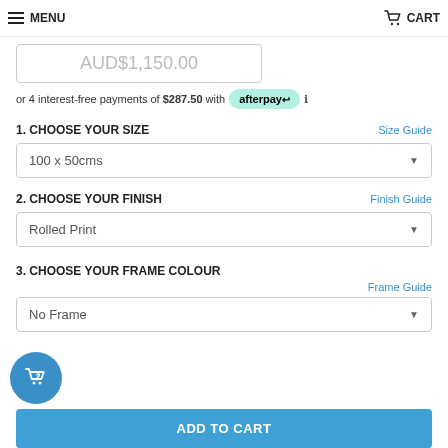MENU   CART
AUD$1,150.00
or 4 interest-free payments of $287.50 with afterpay
1. CHOOSE YOUR SIZE   Size Guide
100 x 50cms
2. CHOOSE YOUR FINISH   Finish Guide
Rolled Print
3. CHOOSE YOUR FRAME COLOUR
Frame Guide
No Frame
ADD TO CART